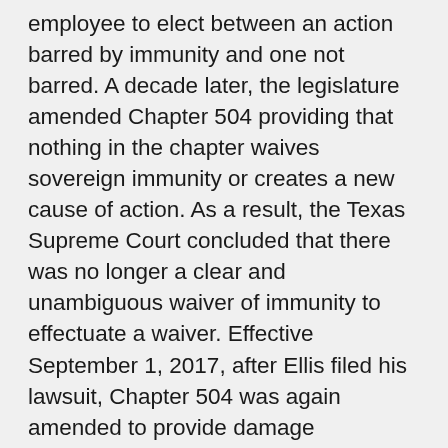employee to elect between an action barred by immunity and one not barred. A decade later, the legislature amended Chapter 504 providing that nothing in the chapter waives sovereign immunity or creates a new cause of action. As a result, the Texas Supreme Court concluded that there was no longer a clear and unambiguous waiver of immunity to effectuate a waiver. Effective September 1, 2017, after Ellis filed his lawsuit, Chapter 504 was again amended to provide damage limitations on the liability of political subdivisions for workers' compensation retaliation claims brought by their employees. At the same time, Chapter 451 was amended to expressly allow first responders to seek relief under the chapter and in such instances sovereign and governmental immunity was waived and abolished to the extent of liability